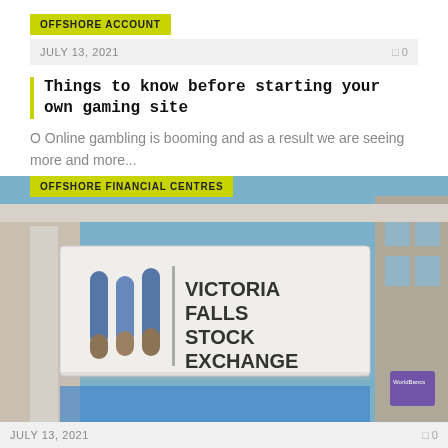OFFSHORE ACCOUNT
JULY 13, 2021   0
Things to know before starting your own gaming site
O Online gambling is booming and as a result we are seeing more and more...
OFFSHORE FINANCIAL CENTRES
[Figure (photo): Photo of Victoria Falls Stock Exchange sign on a building exterior with blue sky in background]
JULY 13, 2021   0